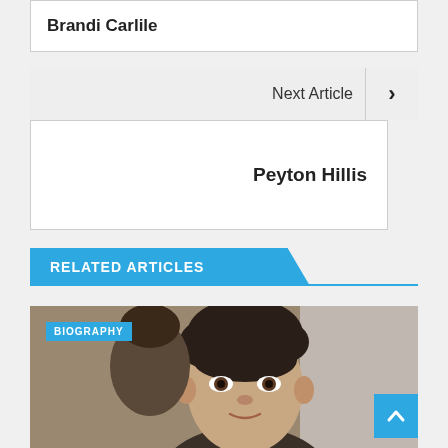Brandi Carlile
Next Article ›
Peyton Hillis
RELATED ARTICLES
[Figure (photo): Photo of a young man with dark curly hair, with a BIOGRAPHY tag overlay]
BIOGRAPHY